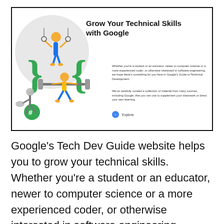[Figure (screenshot): Screenshot of Google's Tech Dev Guide website header showing 'Grow Your Technical Skills with Google' title with an illustration of animated people exercising with coding symbols, and two short paragraphs of descriptive text plus an Explore button.]
Google's Tech Dev Guide website helps you to grow your technical skills.  Whether you're a student or an educator, newer to computer science or a more experienced coder, or otherwise interested in software engineering, there's something for you here in Google's Guide to Technical Development. It is a